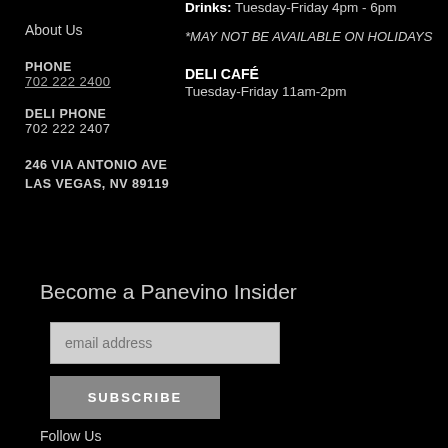Drinks: Tuesday-Friday 4pm - 6pm
About Us
*MAY NOT BE AVAILABLE ON HOLIDAYS
DELI CAFÉ
Tuesday-Friday 11am-2pm
PHONE
702 222 2400
DELI PHONE
702 222 2407
246 VIA ANTONIO AVE
LAS VEGAS, NV 89119
Become a Panevino Insider
email address
SUBSCRIBE
Follow Us